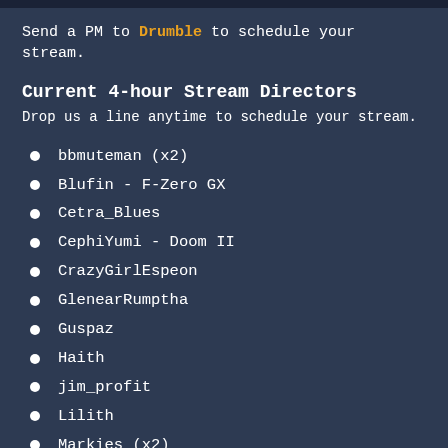Send a PM to Drumble to schedule your stream.
Current 4-hour Stream Directors
Drop us a line anytime to schedule your stream.
bbmuteman (x2)
Blufin - F-Zero GX
Cetra_Blues
CephiYumi - Doom II
CrazyGirlEspeon
GlenearRumptha
Guspaz
Haith
jim_profit
Lilith
Markies (x2)
Mrdots